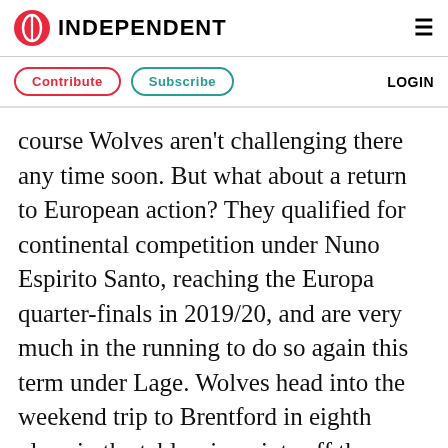INDEPENDENT
Contribute   Subscribe   LOGIN
course Wolves aren't challenging there any time soon. But what about a return to European action? They qualified for continental competition under Nuno Espirito Santo, reaching the Europa quarter-finals in 2019/20, and are very much in the running to do so again this term under Lage. Wolves head into the weekend trip to Brentford in eighth place in the table, six points off the Hammers in fourth, but with two matches in hand.